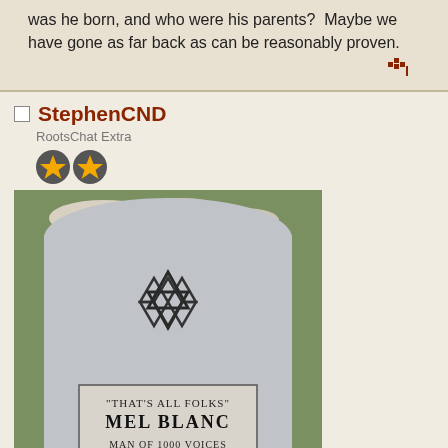was he born, and who were his parents?  Maybe we have gone as far back as can be reasonably proven.
StephenCND
RootsChat Extra
[Figure (photo): Gravestone of Mel Blanc with Star of David at top, inscribed: "THAT'S ALL FOLKS" MEL BLANC MAN OF 1000 VOICES BELOVED HUSBAND AND FATHER 1908 — 1989]
Posts: 60
Census information Crown Copyright, from www.nationalarchives.gov.uk